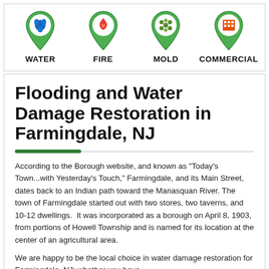[Figure (infographic): Four service category icons with map pin shapes: WATER (blue water drops), FIRE (red flame), MOLD (green mold spores), COMMERCIAL (orange building grid). Each is a green map pin icon with a circular emblem inside.]
Flooding and Water Damage Restoration in Farmingdale, NJ
According to the Borough website, and known as "Today's Town...with Yesterday's Touch," Farmingdale, and its Main Street, dates back to an Indian path toward the Manasquan River. The town of Farmingdale started out with two stores, two taverns, and 10-12 dwellings.  It was incorporated as a borough on April 8, 1903, from portions of Howell Township and is named for its location at the center of an agricultural area.
We are happy to be the local choice in water damage restoration for Farmingdale, NJ; whether you have